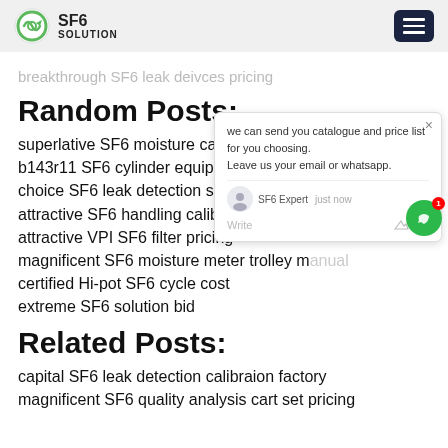SF6 SOLUTION
breakthrough SF6 leak deivces pricing
Random Posts:
superlative SF6 moisture cart factory
b143r11 SF6 cylinder equipment cost
choice SF6 leak detection separating unit
attractive SF6 handling calibraion prices
attractive VPI SF6 filter pricing
magnificent SF6 moisture meter trolley manual
certified Hi-pot SF6 cycle cost
extreme SF6 solution bid
Related Posts:
capital SF6 leak detection calibraion factory
magnificent SF6 quality analysis cart set pricing